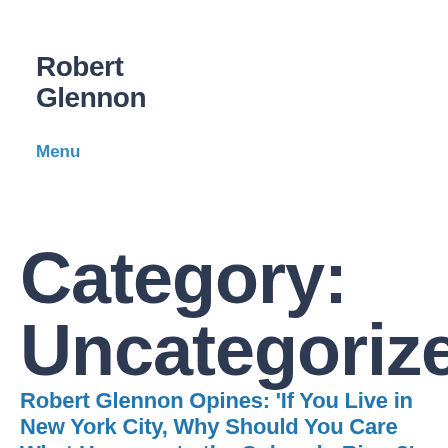Robert Glennon
Menu
Category: Uncategorized
Robert Glennon Opines: ‘If You Live in New York City, Why Should You Care What Happens to the Colorado River?’